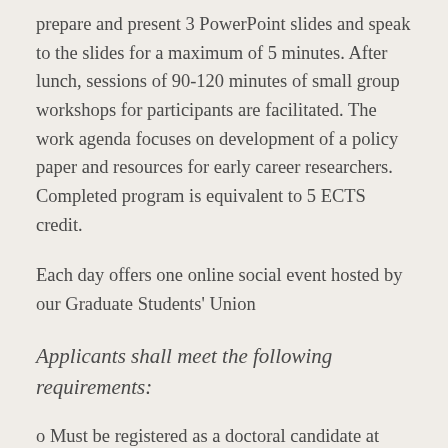prepare and present 3 PowerPoint slides and speak to the slides for a maximum of 5 minutes. After lunch, sessions of 90-120 minutes of small group workshops for participants are facilitated. The work agenda focuses on development of a policy paper and resources for early career researchers. Completed program is equivalent to 5 ECTS credit.
Each day offers one online social event hosted by our Graduate Students' Union
Applicants shall meet the following requirements:
o Must be registered as a doctoral candidate at Lund University